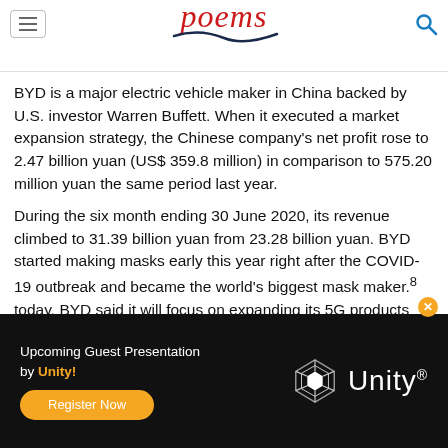poems
BYD is a major electric vehicle maker in China backed by U.S. investor Warren Buffett. When it executed a market expansion strategy, the Chinese company’s net profit rose to 2.47 billion yuan (US$ 359.8 million) in comparison to 575.20 million yuan the same period last year.
During the six month ending 30 June 2020, its revenue climbed to 31.39 billion yuan from 23.28 billion yuan. BYD started making masks early this year right after the COVID-19 outbreak and became the world’s biggest mask maker.8 today. BYD said it will focus on expanding its 5G products and Internet of Things solutions in the second half of 2020. The company made it to the 6th position in POEMS.
Upcoming Guest Presentation by Unity! Register Now